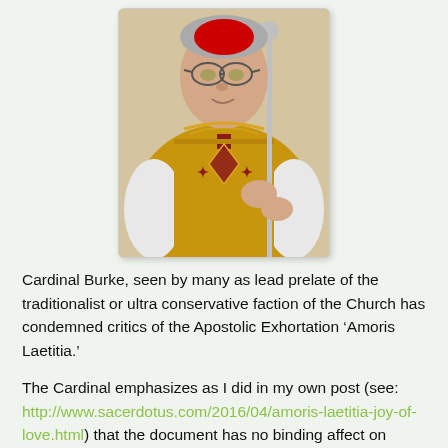[Figure (photo): Portrait photo of Cardinal Burke wearing ornate gold and red liturgical vestments, holding a ceremonial staff]
Cardinal Burke, seen by many as lead prelate of the traditionalist or ultra conservative faction of the Church has condemned critics of the Apostolic Exhortation ‘Amoris Laetitia.’
The Cardinal emphasizes as I did in my own post (see: http://www.sacerdotus.com/2016/04/amoris-laetitia-joy-of-love.html) that the document has no binding affect on doctrine or even practice. He writes: